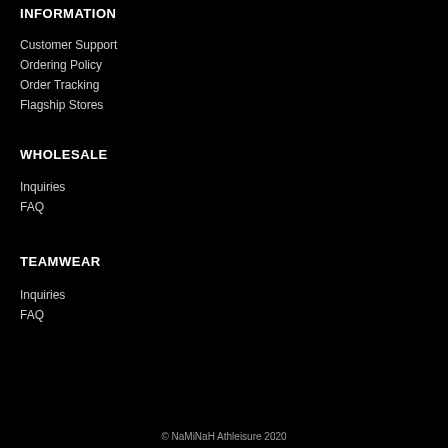INFORMATION
Customer Support
Ordering Policy
Order Tracking
Flagship Stores
WHOLESALE
Inquiries
FAQ
TEAMWEAR
Inquiries
FAQ
© NaMiNaH Athleisure 2020